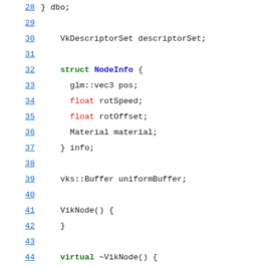Code listing lines 28-49: C++ struct and class member definitions for VikNode
28: } dbo;
29: (blank)
30:     VkDescriptorSet descriptorSet;
31: (blank)
32:     struct NodeInfo {
33:       glm::vec3 pos;
34:       float rotSpeed;
35:       float rotOffset;
36:       Material material;
37:     } info;
38: (blank)
39:     vks::Buffer uniformBuffer;
40: (blank)
41:     VikNode() {
42:     }
43: (blank)
44:     virtual ~VikNode() {
45:       uniformBuffer.destroy();
46:     }
47: (blank)
48:     void setMateral(const Material& m) {
49:       info.material = m;